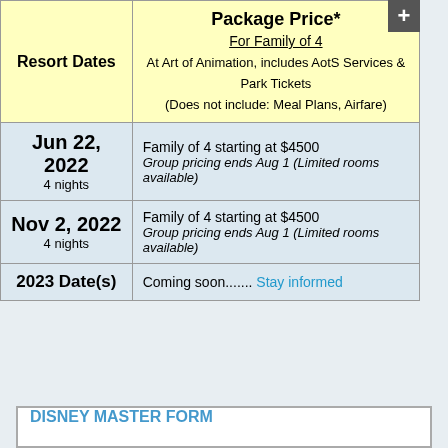| Resort Dates | Package Price*
For Family of 4
At Art of Animation, includes AotS Services & Park Tickets
(Does not include: Meal Plans, Airfare) |
| --- | --- |
| Jun 22, 2022
4 nights | Family of 4 starting at $4500
Group pricing ends Aug 1 (Limited rooms available) |
| Nov 2, 2022
4 nights | Family of 4 starting at $4500
Group pricing ends Aug 1 (Limited rooms available) |
| 2023 Date(s) | Coming soon....... Stay informed |